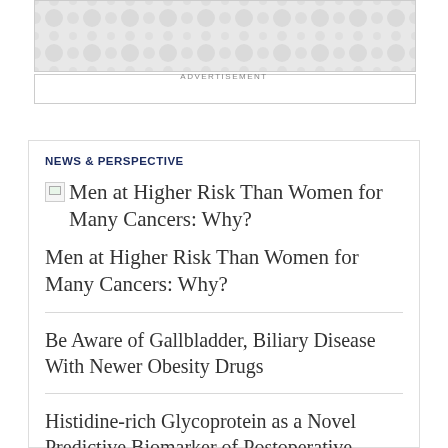[Figure (other): Advertisement banner with decorative grey pattern and a white bar below it]
ADVERTISEMENT
NEWS & PERSPECTIVE
Men at Higher Risk Than Women for Many Cancers: Why?
Men at Higher Risk Than Women for Many Cancers: Why?
Be Aware of Gallbladder, Biliary Disease With Newer Obesity Drugs
Histidine-rich Glycoprotein as a Novel Predictive Biomarker of Postoperative